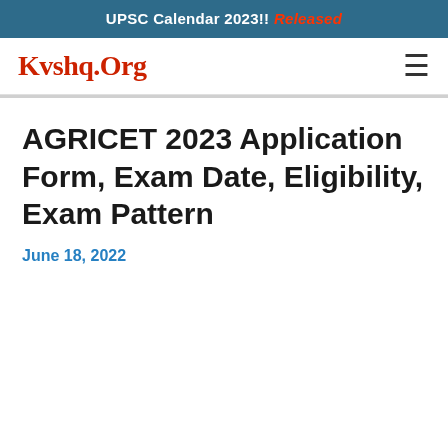UPSC Calendar 2023!! Released
Kvshq.Org
AGRICET 2023 Application Form, Exam Date, Eligibility, Exam Pattern
June 18, 2022